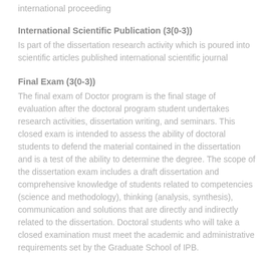international proceeding
International Scientific Publication (3(0-3))
Is part of the dissertation research activity which is poured into scientific articles published international scientific journal
Final Exam (3(0-3))
The final exam of Doctor program is the final stage of evaluation after the doctoral program student undertakes research activities, dissertation writing, and seminars. This closed exam is intended to assess the ability of doctoral students to defend the material contained in the dissertation and is a test of the ability to determine the degree. The scope of the dissertation exam includes a draft dissertation and comprehensive knowledge of students related to competencies (science and methodology), thinking (analysis, synthesis), communication and solutions that are directly and indirectly related to the dissertation. Doctoral students who will take a closed examination must meet the academic and administrative requirements set by the Graduate School of IPB.